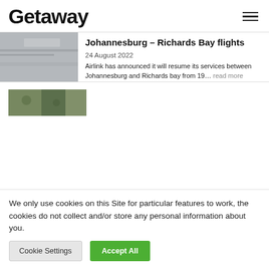Getaway
[Figure (photo): Partial photo of what appears to be an aircraft or similar surface, grey tones]
Johannesburg – Richards Bay flights
24 August 2022
Airlink has announced it will resume its services between Johannesburg and Richards bay from 19… read more
[Figure (photo): Partial photo showing green foliage or outdoor scene]
We only use cookies on this Site for particular features to work, the cookies do not collect and/or store any personal information about you.
Cookie Settings
Accept All